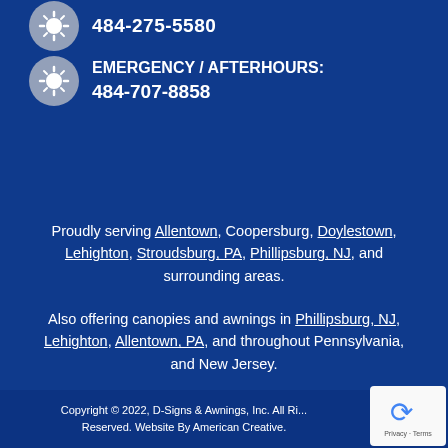484-275-5580
EMERGENCY / AFTERHOURS: 484-707-8858
Proudly serving Allentown, Coopersburg, Doylestown, Lehighton, Stroudsburg, PA, Phillipsburg, NJ, and surrounding areas.
Also offering canopies and awnings in Phillipsburg, NJ, Lehighton, Allentown, PA, and throughout Pennsylvania, and New Jersey.
Copyright © 2022, D-Signs & Awnings, Inc. All Rights Reserved. Website By American Creative.